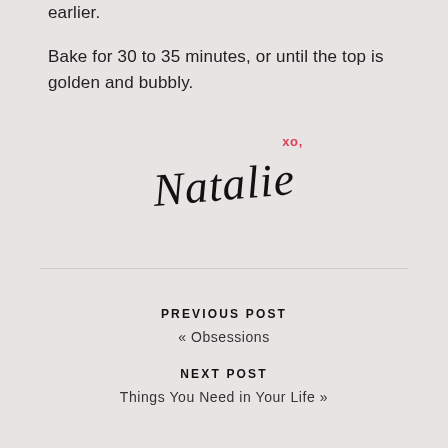earlier.
Bake for 30 to 35 minutes, or until the top is golden and bubbly.
[Figure (illustration): Handwritten signature reading 'xo, Natalie' in italic script with 'xo,' in red and 'Natalie' in black italic font, slightly rotated]
PREVIOUS POST
« Obsessions
NEXT POST
Things You Need in Your Life »